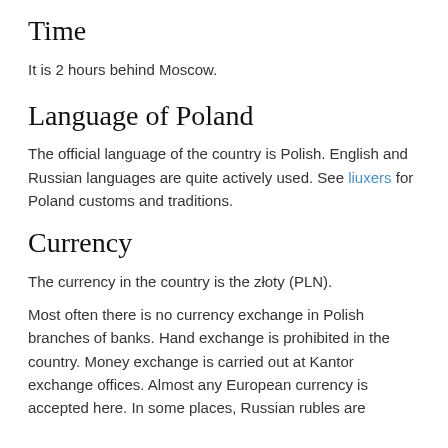Time
It is 2 hours behind Moscow.
Language of Poland
The official language of the country is Polish. English and Russian languages are quite actively used. See liuxers for Poland customs and traditions.
Currency
The currency in the country is the złoty (PLN).
Most often there is no currency exchange in Polish branches of banks. Hand exchange is prohibited in the country. Money exchange is carried out at Kantor exchange offices. Almost any European currency is accepted here. In some places, Russian rubles are